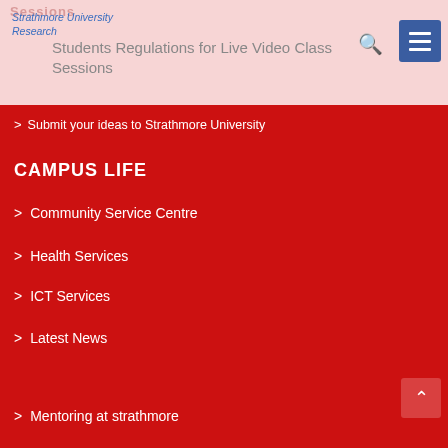Strathmore University Research
Students Regulations for Live Video Class Sessions
Submit your ideas to Strathmore University
CAMPUS LIFE
Community Service Centre
Health Services
ICT Services
Latest News
Mentoring at strathmore